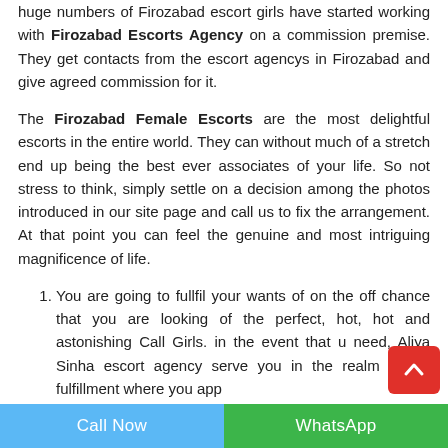huge numbers of Firozabad escort girls have started working with Firozabad Escorts Agency on a commission premise. They get contacts from the escort agencys in Firozabad and give agreed commission for it.
The Firozabad Female Escorts are the most delightful escorts in the entire world. They can without much of a stretch end up being the best ever associates of your life. So not stress to think, simply settle on a decision among the photos introduced in our site page and call us to fix the arrangement. At that point you can feel the genuine and most intriguing magnificence of life.
You are going to fullfil your wants of on the off chance that you are looking of the perfect, hot, hot and astonishing Call Girls. in the event that u need, Aliya Sinha escort agency serve you in the realm of full fulfillment where you app...
Call Now | WhatsApp